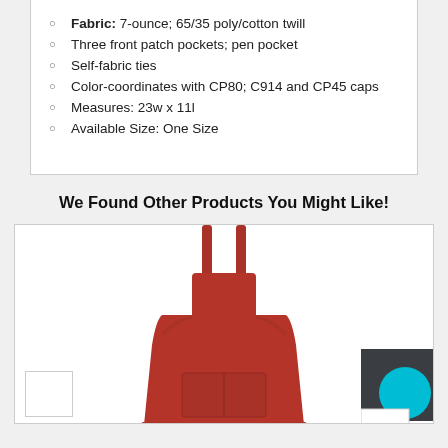Fabric: 7-ounce; 65/35 poly/cotton twill
Three front patch pockets; pen pocket
Self-fabric ties
Color-coordinates with CP80; C914 and CP45 caps
Measures: 23w x 11l
Available Size: One Size
We Found Other Products You Might Like!
[Figure (photo): Red full-length bib apron with neck straps and front pocket, plus small thumbnail images in bottom corners]